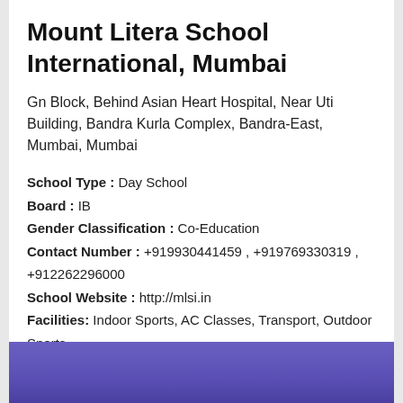Mount Litera School International, Mumbai
Gn Block, Behind Asian Heart Hospital, Near Uti Building, Bandra Kurla Complex, Bandra-East, Mumbai, Mumbai
School Type : Day School
Board : IB
Gender Classification : Co-Education
Contact Number : +919930441459 , +919769330319 , +912262296000
School Website : http://mlsi.in
Facilities: Indoor Sports, AC Classes, Transport, Outdoor Sports
[Figure (photo): Purple/violet gradient background image at the bottom of the page]